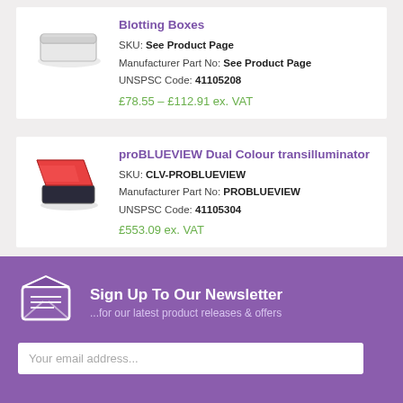Blotting Boxes
SKU: See Product Page
Manufacturer Part No: See Product Page
UNSPSC Code: 41105208
£78.55 – £112.91 ex. VAT
proBLUEVIEW Dual Colour transilluminator
SKU: CLV-PROBLUEVIEW
Manufacturer Part No: PROBLUEVIEW
UNSPSC Code: 41105304
£553.09 ex. VAT
Sign Up To Our Newsletter
...for our latest product releases & offers
Your email address...
SUBSCRIBE